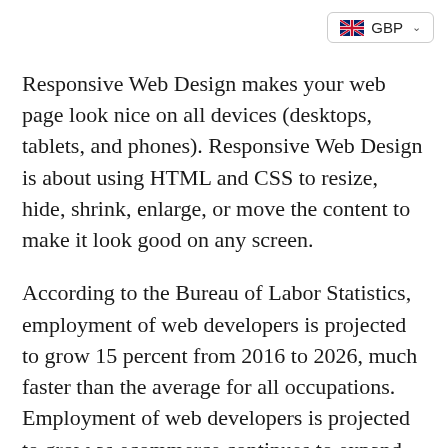GBP
Responsive Web Design makes your web page look nice on all devices (desktops, tablets, and phones). Responsive Web Design is about using HTML and CSS to resize, hide, shrink, enlarge, or move the content to make it look good on any screen.
According to the Bureau of Labor Statistics, employment of web developers is projected to grow 15 percent from 2016 to 2026, much faster than the average for all occupations. Employment of web developers is projected to grow as ecommerce continues to expand and online purchasing is expected to grow faster than the overall retail industry.